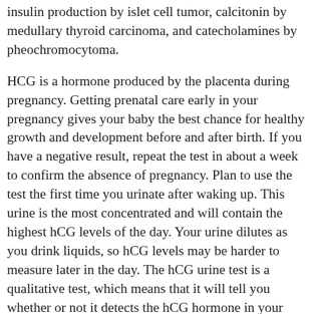insulin production by islet cell tumor, calcitonin by medullary thyroid carcinoma, and catecholamines by pheochromocytoma.
HCG is a hormone produced by the placenta during pregnancy. Getting prenatal care early in your pregnancy gives your baby the best chance for healthy growth and development before and after birth. If you have a negative result, repeat the test in about a week to confirm the absence of pregnancy. Plan to use the test the first time you urinate after waking up. This urine is the most concentrated and will contain the highest hCG levels of the day. Your urine dilutes as you drink liquids, so hCG levels may be harder to measure later in the day. The hCG urine test is a qualitative test, which means that it will tell you whether or not it detects the hCG hormone in your urine. It’s not intended to reveal specific levels of the hormone. You should not use any of the information contained on the website for diagnosing a